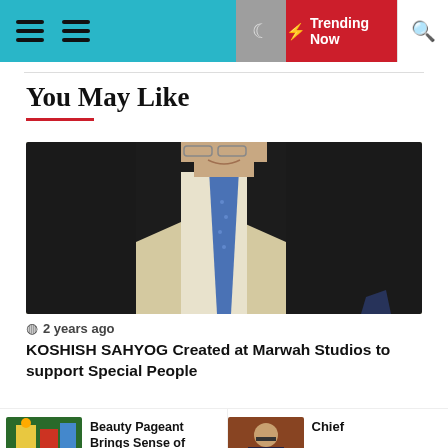≡ ≡   🌙  ⚡ Trending Now  🔍
You May Like
[Figure (photo): A man in a dark suit with a blue tie, photographed from the chin down, with a yellow/cream background.]
2 years ago
KOSHISH SAHYOG Created at Marwah Studios to support Special People
[Figure (photo): Small thumbnail of a colorful scene - Beauty Pageant related image]
Beauty Pageant Brings Sense of Healt
[Figure (photo): Small thumbnail showing a man]
Chief